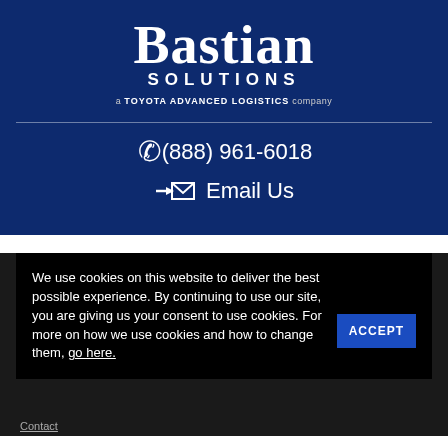[Figure (logo): Bastian Solutions logo - a Toyota Advanced Logistics company, white text on dark blue background]
(888) 961-6018
Email Us
We use cookies on this website to deliver the best possible experience. By continuing to use our site, you are giving us your consent to use cookies. For more on how we use cookies and how to change them, go here.
ACCEPT
Contact